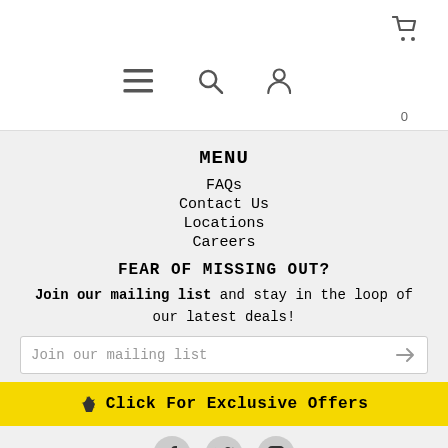Cart icon, hamburger menu, search, user icons, cart count 0
MENU
FAQs
Contact Us
Locations
Careers
FEAR OF MISSING OUT?
Join our mailing list and stay in the loop of our latest deals!
Join our mailing list
Click For Exclusive Offers